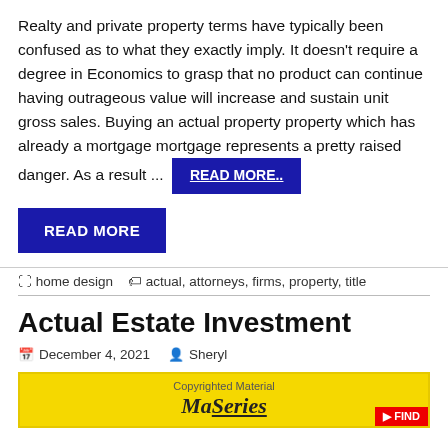Realty and private property terms have typically been confused as to what they exactly imply. It doesn't require a degree in Economics to grasp that no product can continue having outrageous value will increase and sustain unit gross sales. Buying an actual property property which has already a mortgage mortgage represents a pretty raised danger. As a result ... READ MORE..
READ MORE
home design   actual, attorneys, firms, property, title
Actual Estate Investment
December 4, 2021   Sheryl
[Figure (photo): Yellow background image strip with 'Copyrighted Material' text and partial brand logo, with red badge bottom right]